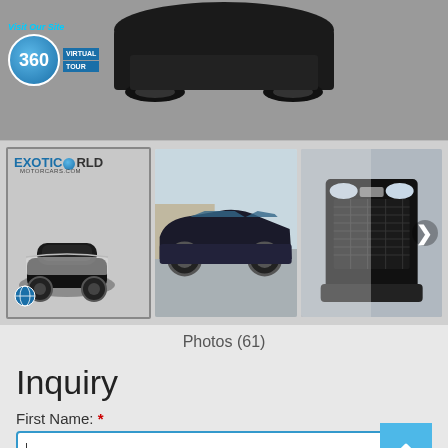[Figure (photo): Top section showing a dark luxury Bentley car from above on gray background, with a 360 virtual tour badge overlay]
[Figure (photo): Three thumbnail photos of a dark Bentley luxury car: first with ExoticWorld Motorcars logo overlay, second showing side profile in parking lot, third showing front grille close-up with navigation arrow]
Photos (61)
Inquiry
First Name: *
Last Name: *